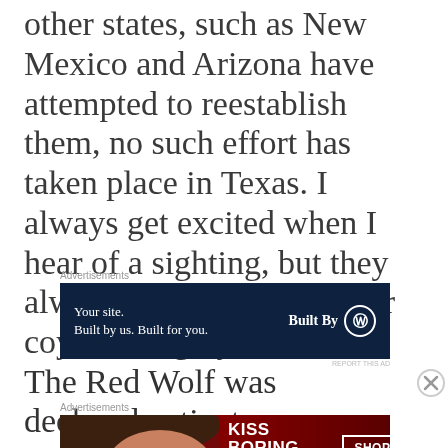other states, such as New Mexico and Arizona have attempted to reestablish them, no such effort has taken place in Texas. I always get excited when I hear of a sighting, but they always turn out to be either coyotes or gray foxes!
[Figure (other): Advertisement banner: dark navy background with text 'Your site. Built by us. Built for you.' on the left and 'Built By' with WordPress logo on the right.]
The Red Wolf was declared extinct
[Figure (other): Advertisement banner: dark red background with woman's face and lips, text 'KISS BORING LIPS GOODBYE' on the left and 'SHOP NOW' button with Macy's logo on the right.]